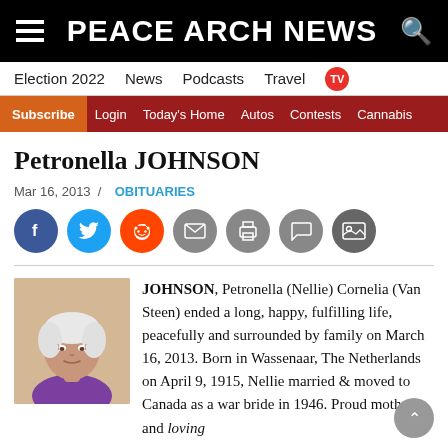PEACE ARCH NEWS
Election 2022  News  Podcasts  Travel  TV
Subscribe  Login  Today's Home  Autos  Contests  Cannabis
Petronella JOHNSON
Mar 16, 2013 / OBITUARIES
[Figure (illustration): Social sharing icons row: Facebook, Twitter, Reddit, Email, Print, Comment, Photo]
[Figure (photo): Black and white portrait photo of an elderly woman]
JOHNSON, Petronella (Nellie) Cornelia (Van Steen) ended a long, happy, fulfilling life, peacefully and surrounded by family on March 16, 2013. Born in Wassenaar, The Netherlands on April 9, 1915, Nellie married & moved to Canada as a war bride in 1946. Proud mother and loving